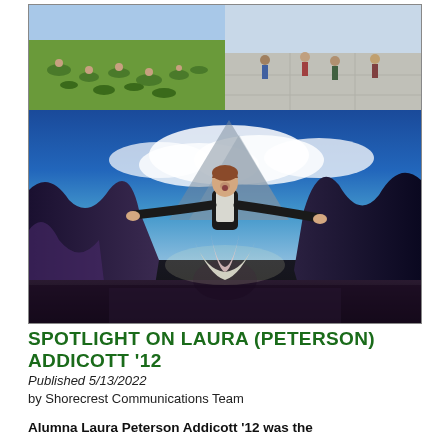[Figure (photo): Two-part photo collage: top row shows two images side by side (left: group of students on green grass, right: people on a paved area), bottom: large theater stage photo of a woman in costume with arms outstretched, wearing a black top and striped apron/skirt, dramatic blue sky and mountain backdrop on stage]
SPOTLIGHT ON LAURA (PETERSON) ADDICOTT '12
Published 5/13/2022
by Shorecrest Communications Team
Alumna Laura Peterson Addicott '12 was the